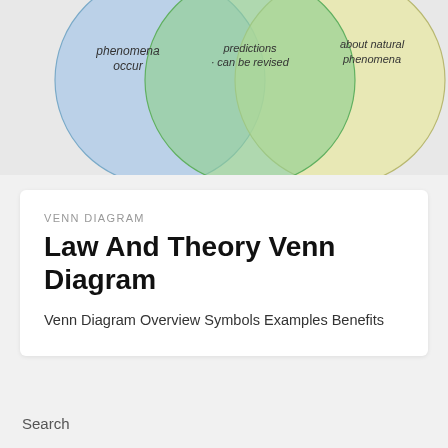[Figure (other): Partial view of a three-circle Venn diagram showing overlapping circles in blue, green, and yellow. Visible text labels include 'phenomena occur', 'predictions · can be revised', and 'about natural phenomena'.]
VENN DIAGRAM
Law And Theory Venn Diagram
Venn Diagram Overview Symbols Examples Benefits
Search